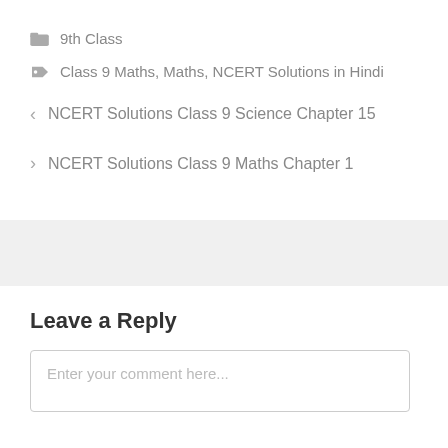9th Class
Class 9 Maths, Maths, NCERT Solutions in Hindi
< NCERT Solutions Class 9 Science Chapter 15
> NCERT Solutions Class 9 Maths Chapter 1
Leave a Reply
Enter your comment here...